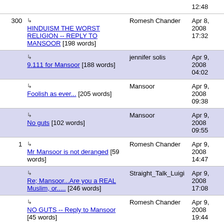| # | Title | Author | Date |
| --- | --- | --- | --- |
|  | ↳ [top row cut off] |  | 12:48 |
| 300 | ↳ HINDUISM THE WORST RELIGION -- REPLY TO MANSOOR [198 words] | Romesh Chander | Apr 8, 2008 17:32 |
|  | ↳ 9.111 for Mansoor [188 words] | jennifer solis | Apr 9, 2008 04:02 |
|  | ↳ Foolish as ever... [205 words] | Mansoor | Apr 9, 2008 09:38 |
|  | ↳ No guts [102 words] | Mansoor | Apr 9, 2008 09:55 |
| 1 | ↳ Mr Mansoor is not deranged [59 words] | Romesh Chander | Apr 9, 2008 14:47 |
|  | ↳ Re; Mansoor...Are you a REAL Muslim, or..... [246 words] | Straight_Talk_Luigi | Apr 9, 2008 17:08 |
|  | ↳ NO GUTS -- Reply to Mansoor [45 words] | Romesh Chander | Apr 9, 2008 19:44 |
|  | ↳ | Mansoor | Apr 10, |